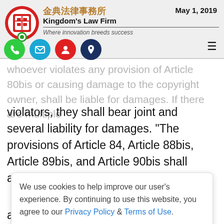金典法律事務所 Kingdom's Law Firm — Where innovation breeds success | May 1, 2019
whoever violates any provision of Article 80bis or causing damage to the copyright owner, shall be liable for damages. If there are multiple violators, they shall bear joint and several liability for damages. "The provisions of Article 84, Article 88bis, Article 89bis, and Article 90bis shall apply mutatis
We use cookies to help improve our user's experience. By continuing to use this website, you agree to our Privacy Policy & Terms of Use.
application of Article 90sexies to Article 90novies